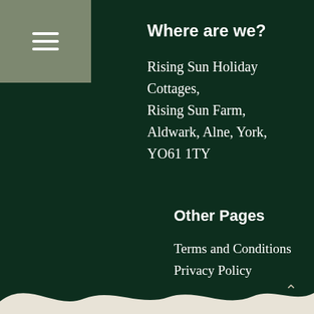[Figure (other): Hamburger menu icon (three horizontal white lines) on a sage/olive green square background in the top-left corner]
Where are we?
Rising Sun Holiday Cottages,
Rising Sun Farm,
Aldwark, Alne, York,
YO61 1TY
Other Pages
Terms and Conditions
Privacy Policy
[Figure (illustration): White wavy hill/snow shape along the bottom of the page]